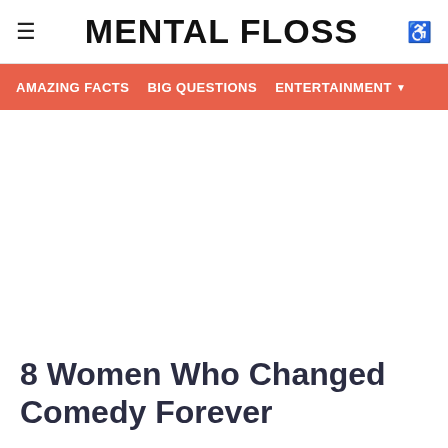≡  MENTAL FLOSS  ♿
AMAZING FACTS   BIG QUESTIONS   ENTERTAINMENT ▼
8 Women Who Changed Comedy Forever